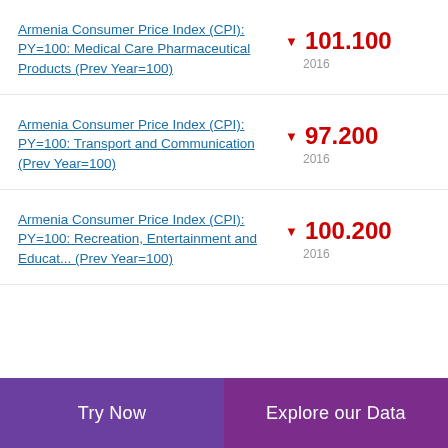Armenia Consumer Price Index (CPI): PY=100: Medical Care Pharmaceutical Products (Prev Year=100)
▼ 101.100
2016
Armenia Consumer Price Index (CPI): PY=100: Transport and Communication (Prev Year=100)
▼ 97.200
2016
Armenia Consumer Price Index (CPI): PY=100: Recreation, Entertainment and Educat... (Prev Year=100)
▼ 100.200
2016
Try Now | Explore our Data